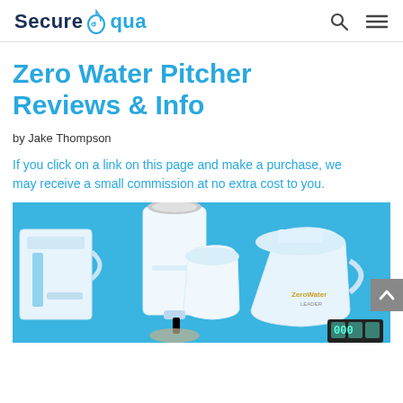Secure Aqua
Zero Water Pitcher Reviews & Info
by Jake Thompson
If you click on a link on this page and make a purchase, we may receive a small commission at no extra cost to you.
[Figure (photo): Photo of multiple ZeroWater pitcher products arranged on a blue background, including pitchers of various sizes and a dispenser. ZeroWater logo and TDS meter visible.]